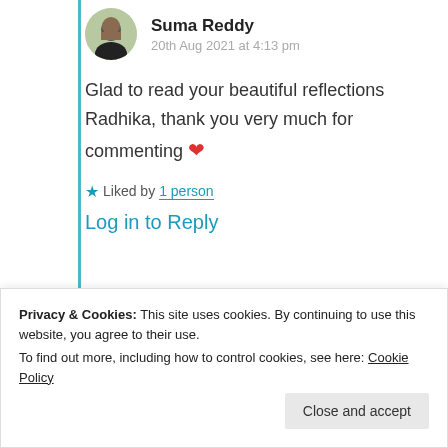Suma Reddy
20th Aug 2021 at 4:13 pm
Glad to read your beautiful reflections Radhika, thank you very much for commenting ❤
★ Liked by 1 person
Log in to Reply
Advertisements
[Figure (screenshot): Advertisements banner: Simplified pricing for WordPress.com]
Privacy & Cookies: This site uses cookies. By continuing to use this website, you agree to their use.
To find out more, including how to control cookies, see here: Cookie Policy
Close and accept